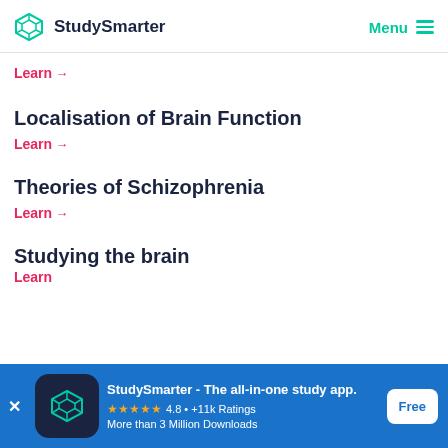StudySmarter  Menu
Learn →
Localisation of Brain Function
Learn →
Theories of Schizophrenia
Learn →
Studying the brain
Learn
[Figure (screenshot): StudySmarter app download banner with logo, rating 4.8, +11k Ratings, More than 3 Million Downloads, and Free button]